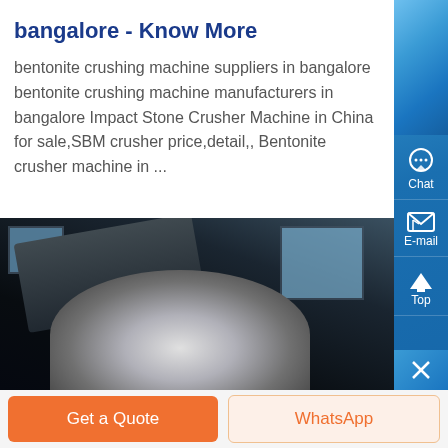bangalore - Know More
bentonite crushing machine suppliers in bangalore bentonite crushing machine manufacturers in bangalore Impact Stone Crusher Machine in China for sale,SBM crusher price,detail,, Bentonite crusher machine in ...
[Figure (photo): Industrial crushing machine equipment photograph, dark tones with industrial machinery visible]
[Figure (screenshot): Website sidebar with Chat, E-mail, Top buttons on blue background, and bottom bar with Get a Quote and WhatsApp buttons]